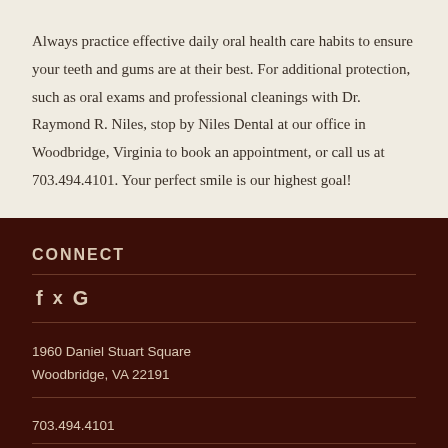Always practice effective daily oral health care habits to ensure your teeth and gums are at their best. For additional protection, such as oral exams and professional cleanings with Dr. Raymond R. Niles, stop by Niles Dental at our office in Woodbridge, Virginia to book an appointment, or call us at 703.494.4101. Your perfect smile is our highest goal!
CONNECT
[Figure (other): Social media icons: Facebook (f), Twitter (bird), Google (G)]
1960 Daniel Stuart Square
Woodbridge, VA 22191
703.494.4101